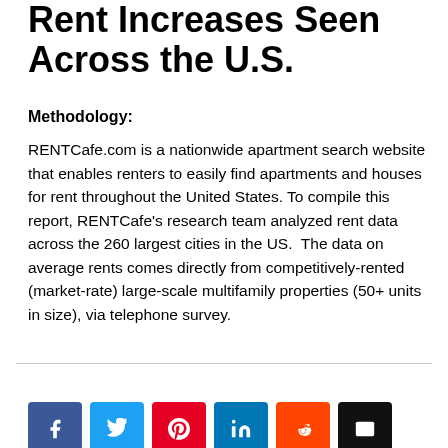Rent Increases Seen Across the U.S.
Methodology:
RENTCafe.com is a nationwide apartment search website that enables renters to easily find apartments and houses for rent throughout the United States. To compile this report, RENTCafe’s research team analyzed rent data across the 260 largest cities in the US.  The data on average rents comes directly from competitively-rented (market-rate) large-scale multifamily properties (50+ units in size), via telephone survey.
Like 19 | Facebook | Twitter | Pinterest | LinkedIn | Reddit | Email